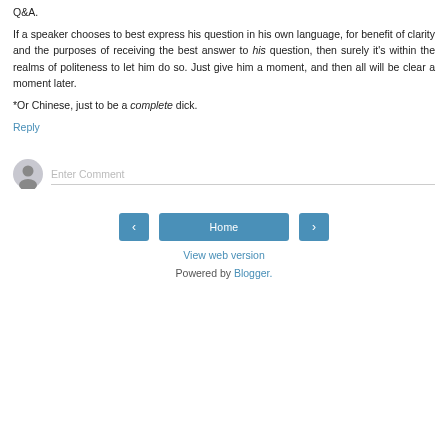Q&A.
If a speaker chooses to best express his question in his own language, for benefit of clarity and the purposes of receiving the best answer to his question, then surely it's within the realms of politeness to let him do so. Just give him a moment, and then all will be clear a moment later.
*Or Chinese, just to be a complete dick.
Reply
[Figure (other): User avatar icon (grey silhouette) with Enter Comment input field]
< Home > navigation buttons
View web version
Powered by Blogger.